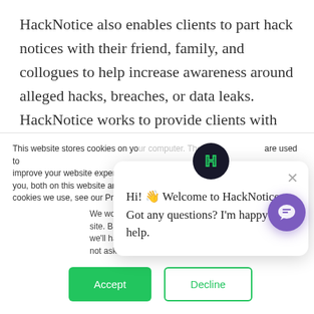HackNotice also enables clients to part hack notices with their friend, family, and collogues to help increase awareness around alleged hacks, breaches, or data leaks. HackNotice works to provide clients with sharable reports to help growth the surety of our clients personal network. The surety of the people that our clients interact with directly impacts the level of
This website stores cookies on your computer. These are used to improve your website experience you, both on this website and through cookies we use, see our Privacy P...
We won't track your site. But in order to c we'll have to use jus not asked to make this choice again.
[Figure (other): Cookie consent dialog with Accept (green) and Decline (outlined) buttons]
[Figure (other): HackNotice chat popup with H logo and message: Hi! Welcome to HackNotice. Got any questions? I'm happy to help.]